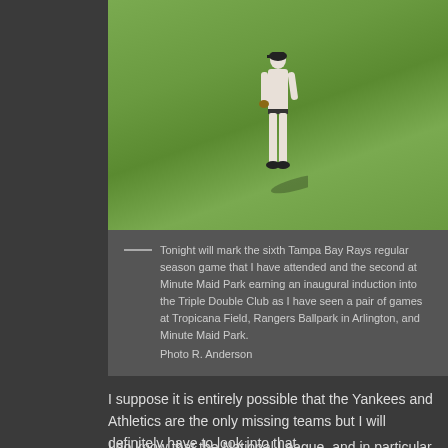[Figure (photo): A baseball player in white uniform walking on a green outfield grass, viewed from behind, with shadow cast on the ground.]
Tonight will mark the sixth Tampa Bay Rays regular season game that I have attended and the second at Minute Maid Park earning an inaugural induction into the Triple Double Club as I have seen a pair of games at Tropicana Field, Rangers Ballpark in Arlington, and Minute Maid Park. Photo R. Anderson
I suppose it is entirely possible that the Yankees and Athletics are the only missing teams but I will definitely have to look into that.
I do know that the National League, and in particular the National League Central, is well represented in my list of